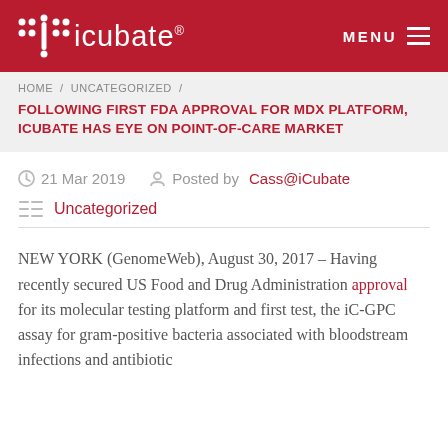icubate® MENU
HOME / UNCATEGORIZED /
FOLLOWING FIRST FDA APPROVAL FOR MDX PLATFORM, ICUBATE HAS EYE ON POINT-OF-CARE MARKET
21 Mar 2019   Posted by Cass@iCubate
Uncategorized
NEW YORK (GenomeWeb), August 30, 2017 – Having recently secured US Food and Drug Administration approval for its molecular testing platform and first test, the iC-GPC assay for gram-positive bacteria associated with bloodstream infections and antibiotic